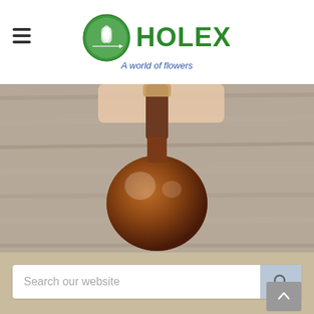HOLEX - A world of flowers
[Figure (photo): Close-up photo of a brown glass flask/bottle on a wooden surface, with a hand partially visible at top. Product photo related to lily fragrance or essence.]
Lily
Search our website